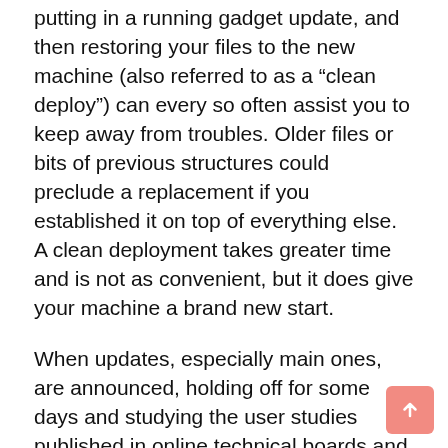putting in a running gadget update, and then restoring your files to the new machine (also referred to as a “clean deploy”) can every so often assist you to keep away from troubles. Older files or bits of previous structures could preclude a replacement if you established it on top of everything else. A clean deployment takes greater time and is not as convenient, but it does give your machine a brand new start.
When updates, especially main ones, are announced, holding off for some days and studying the user studies published in online technical boards and blogs will let you understand how properly update works. Thurrott.Com, iLounge, and AndroidPIT are many websites that file on the technical issues concerning software program updates.